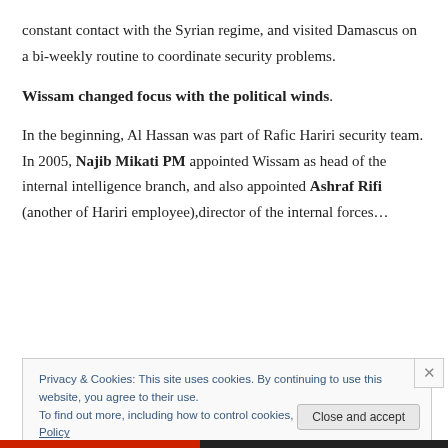constant contact with the Syrian regime, and visited Damascus on a bi-weekly routine to coordinate security problems.
Wissam changed focus with the political winds.
In the beginning, Al Hassan was part of Rafic Hariri security team. In 2005, Najib Mikati PM appointed Wissam as head of the internal intelligence branch, and also appointed Ashraf Rifi (another of Hariri employee),director of the internal forces…
Privacy & Cookies: This site uses cookies. By continuing to use this website, you agree to their use. To find out more, including how to control cookies, see here: Cookie Policy
Close and accept